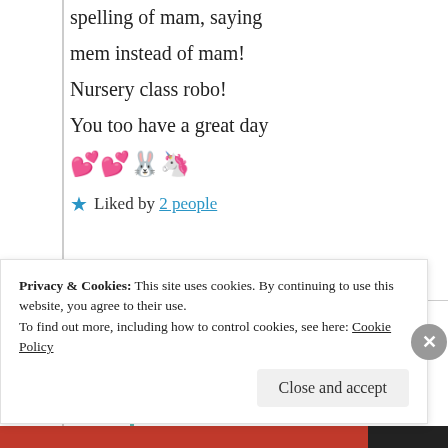spelling of mam, saying mem instead of mam!
Nursery class robo!
You too have a great day
💕💕🐰🦄
★ Liked by 2 people
Suma Reddy
1st Sep 2021 at
Privacy & Cookies: This site uses cookies. By continuing to use this website, you agree to their use.
To find out more, including how to control cookies, see here: Cookie Policy
Close and accept